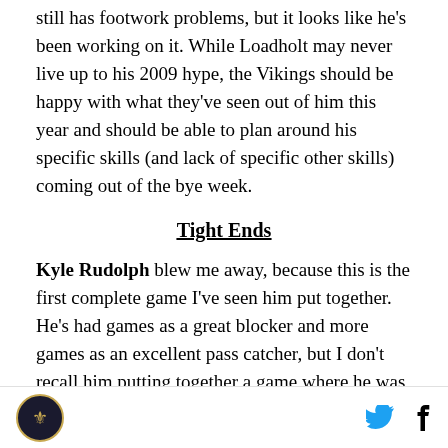still has footwork problems, but it looks like he's been working on it. While Loadholt may never live up to his 2009 hype, the Vikings should be happy with what they've seen out of him this year and should be able to plan around his specific skills (and lack of specific other skills) coming out of the bye week.
Tight Ends
Kyle Rudolph blew me away, because this is the first complete game I've seen him put together. He's had games as a great blocker and more games as an excellent pass catcher, but I don't recall him putting together a game where he was able to compete in all phases of the game and really be a true tight end. It wasn't a spectacular performance, and he still clearly